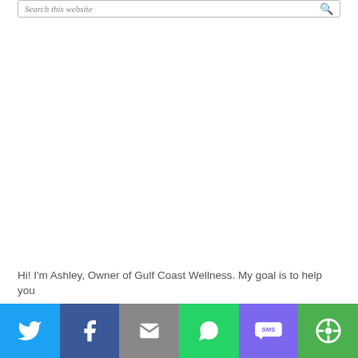Search this website
Hi! I'm Ashley, Owner of Gulf Coast Wellness. My goal is to help you
[Figure (other): Social share bar with Twitter, Facebook, Email, WhatsApp, SMS, and More buttons]